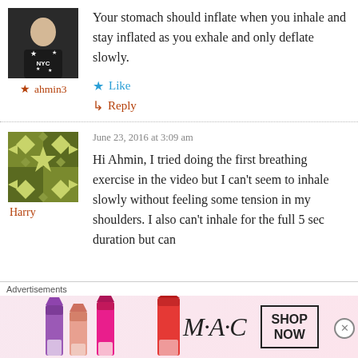[Figure (photo): Profile photo of user ahmin3, person wearing dark sweatshirt with NYC text]
★ ahmin3
Your stomach should inflate when you inhale and stay inflated as you exhale and only deflate slowly.
★ Like
↳ Reply
[Figure (illustration): Avatar image for user Harry, green geometric mosaic pattern]
Harry
June 23, 2016 at 3:09 am
Hi Ahmin, I tried doing the first breathing exercise in the video but I can't seem to inhale slowly without feeling some tension in my shoulders. I also can't inhale for the full 5 sec duration but can
Advertisements
[Figure (photo): MAC Cosmetics advertisement banner showing colorful lipsticks with SHOP NOW button]